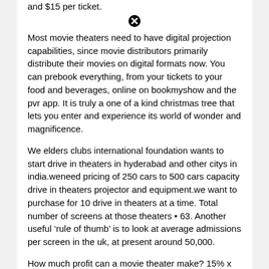and $15 per ticket.
[Figure (other): Close/cancel icon (circled X)]
Most movie theaters need to have digital projection capabilities, since movie distributors primarily distribute their movies on digital formats now. You can prebook everything, from your tickets to your food and beverages, online on bookmyshow and the pvr app. It is truly a one of a kind christmas tree that lets you enter and experience its world of wonder and magnificence.
We elders clubs international foundation wants to start drive in theaters in hyderabad and other citys in india.weneed pricing of 250 cars to 500 cars capacity drive in theaters projector and equipment.we want to purchase for 10 drive in theaters at a time. Total number of screens at those theaters • 63. Another useful ‘rule of thumb’ is to look at average admissions per screen in the uk, at present around 50,000.
How much profit can a movie theater make? 15% x 455,520 = 68,328 seats sold @ £6 each = £409,968. How do you book a ticket (and how much does it cost)?
[Figure (other): Close/cancel icon (circled X) inline in last text block]